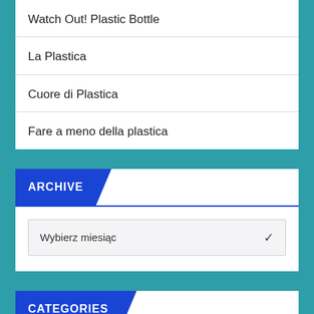Watch Out! Plastic Bottle
La Plastica
Cuore di Plastica
Fare a meno della plastica
ARCHIVE
Wybierz miesiąc
CATEGORIES